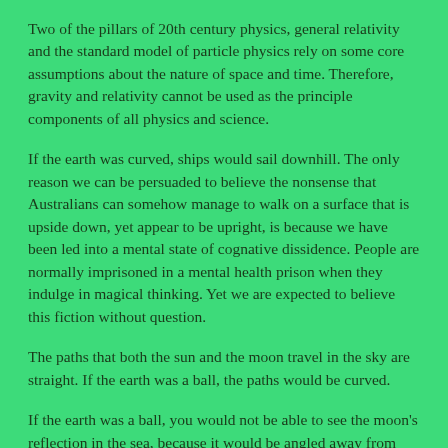Two of the pillars of 20th century physics, general relativity and the standard model of particle physics rely on some core assumptions about the nature of space and time. Therefore, gravity and relativity cannot be used as the principle components of all physics and science.
If the earth was curved, ships would sail downhill. The only reason we can be persuaded to believe the nonsense that Australians can somehow manage to walk on a surface that is upside down, yet appear to be upright, is because we have been led into a mental state of cognative dissidence. People are normally imprisoned in a mental health prison when they indulge in magical thinking. Yet we are expected to believe this fiction without question.
The paths that both the sun and the moon travel in the sky are straight. If the earth was a ball, the paths would be curved.
If the earth was a ball, you would not be able to see the moon's reflection in the sea, because it would be angled away from your perspective. Therefore the earth must be flat.
There is no adjusting for the earths curvature when laying telegraph poles, train tracks, roads, bridges, canals or cables. The river Nile is